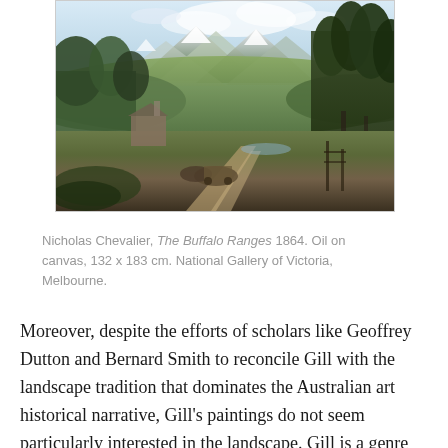[Figure (photo): Oil painting of The Buffalo Ranges by Nicholas Chevalier, 1864. A mountainous landscape with snow-capped peaks in the background, dense green trees on the right, a dirt path winding through a valley, and figures with horses or cattle in the foreground near a rustic structure.]
Nicholas Chevalier, The Buffalo Ranges 1864. Oil on canvas, 132 x 183 cm. National Gallery of Victoria, Melbourne.
Moreover, despite the efforts of scholars like Geoffrey Dutton and Bernard Smith to reconcile Gill with the landscape tradition that dominates the Australian art historical narrative, Gill's paintings do not seem particularly interested in the landscape. Gill is a genre painter, and his